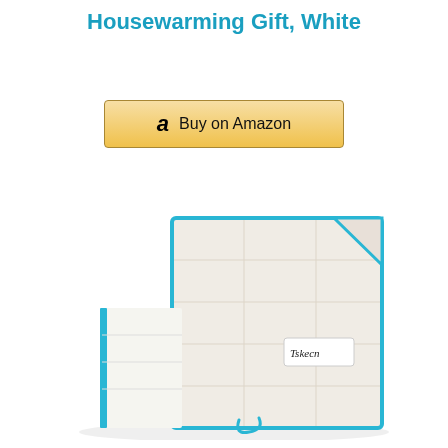Housewarming Gift, White
[Figure (illustration): Amazon Buy on Amazon button with golden/yellow gradient background and Amazon logo]
[Figure (photo): Stack of white microfiber cleaning cloths/dish towels with colorful edges (blue, pink, green, yellow, purple, gray) by brand Tskecn]